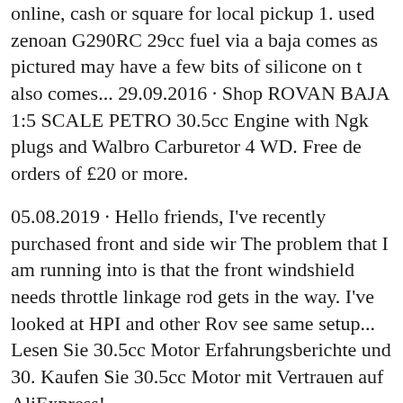online, cash or square for local pickup 1. used zenoan G290RC 29cc fuel via a baja comes as pictured may have a few bits of silicone on t also comes... 29.09.2016 · Shop ROVAN BAJA 1:5 SCALE PETRO 30.5cc Engine with Ngk plugs and Walbro Carburetor 4 WD. Free de orders of £20 or more.
05.08.2019 · Hello friends, I've recently purchased front and side wir The problem that I am running into is that the front windshield needs throttle linkage rod gets in the way. I've looked at HPI and other Rov see same setup... Lesen Sie 30.5cc Motor Erfahrungsberichte und 30. Kaufen Sie 30.5cc Motor mit Vertrauen auf AliExpress!
Rovan 2T 30.5CC Gas Engine for rc car 29.09.2016 · Shop ROVAN RC BUGGY 305/4WD02 - 30.5cc Engine with Ngk plugs and Walbr delivery and returns on eligible orders of £20 or more.
Rovan 27.5cc/30.5cc +2mm Crankshaft - ROV-670072 - Engine Part Continue shopping Checkout. Follow us on: Sign up to our newslette list 1/5 2WD Baja Exhaust Pipes; Rovan LT Truck, LOSI 5IVE-T an SLT 4WD Buggy Pipes; Roll Cage & Bumper. Bumpers; Roll Cages